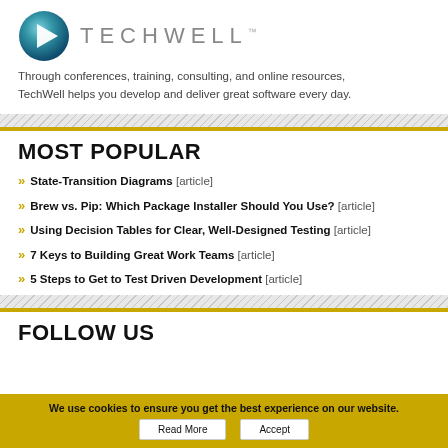[Figure (logo): TechWell logo: a dark teal/blue circle with a white right-pointing triangle play button, next to the text TECHWELL in grey spaced letters]
Through conferences, training, consulting, and online resources, TechWell helps you develop and deliver great software every day.
MOST POPULAR
» State-Transition Diagrams [article]
» Brew vs. Pip: Which Package Installer Should You Use? [article]
» Using Decision Tables for Clear, Well-Designed Testing [article]
» 7 Keys to Building Great Work Teams [article]
» 5 Steps to Get to Test Driven Development [article]
FOLLOW US
We use cookies to ensure you get the best experience on our website.